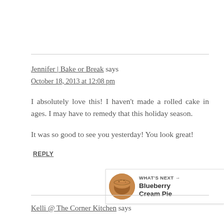Jennifer | Bake or Break says
October 18, 2013 at 12:08 pm
I absolutely love this! I haven't made a rolled cake in ages. I may have to remedy that this holiday season.
It was so good to see you yesterday! You look great!
REPLY
[Figure (other): Share icon button — circular white button with share symbol]
[Figure (other): What's Next widget showing a circular pie image with text 'WHAT'S NEXT → Blueberry Cream Pie']
Kelli @ The Corner Kitchen says